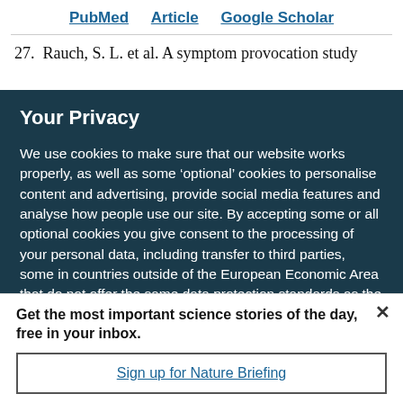PubMed   Article   Google Scholar
27.  Rauch, S. L. et al. A symptom provocation study
Your Privacy
We use cookies to make sure that our website works properly, as well as some ‘optional’ cookies to personalise content and advertising, provide social media features and analyse how people use our site. By accepting some or all optional cookies you give consent to the processing of your personal data, including transfer to third parties, some in countries outside of the European Economic Area that do not offer the same data protection standards as the country where you live. You can decide which optional cookies to accept by clicking on ‘Manage Settings’, where you can
Get the most important science stories of the day, free in your inbox.
Sign up for Nature Briefing